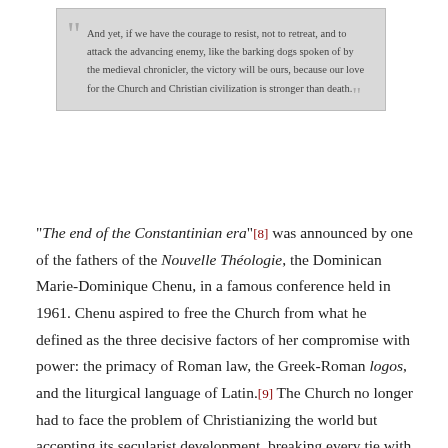And yet, if we have the courage to resist, not to retreat, and to attack the advancing enemy, like the barking dogs spoken of by the medieval chronicler, the victory will be ours, because our love for the Church and Christian civilization is stronger than death.
"The end of the Constantinian era"[8] was announced by one of the fathers of the Nouvelle Théologie, the Dominican Marie-Dominique Chenu, in a famous conference held in 1961. Chenu aspired to free the Church from what he defined as the three decisive factors of her compromise with power: the primacy of Roman law, the Greek-Roman logos, and the liturgical language of Latin.[9] The Church no longer had to face the problem of Christianizing the world but accepting its secularist development, breaking every tie with Tradition, renewing her doctrine through (pastoral) praxis.
The modernists deny the social reign of Christ